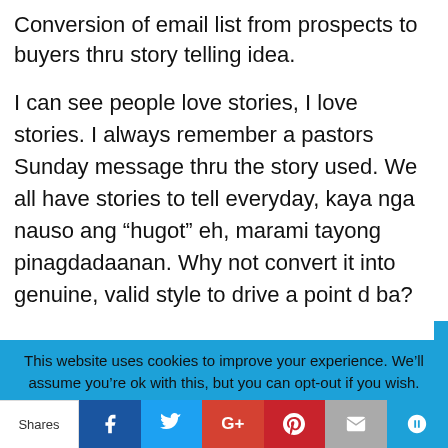Conversion of email list from prospects to buyers thru story telling idea.
I can see people love stories, I love stories. I always remember a pastors Sunday message thru the story used. We all have stories to tell everyday, kaya nga nauso ang “hugot” eh, marami tayong pinagdadaanan. Why not convert it into genuine, valid style to drive a point d ba?
This website uses cookies to improve your experience. We’ll assume you’re ok with this, but you can opt-out if you wish.
Shares